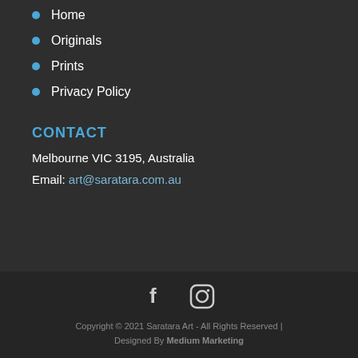Home
Originals
Prints
Privacy Policy
CONTACT
Melbourne VIC 3195, Australia
Email: art@saratara.com.au
[Figure (other): Facebook and Instagram social media icons]
Copyright © 2021 Saratara Art - All Rights Reserved | Designed By Medium Marketing